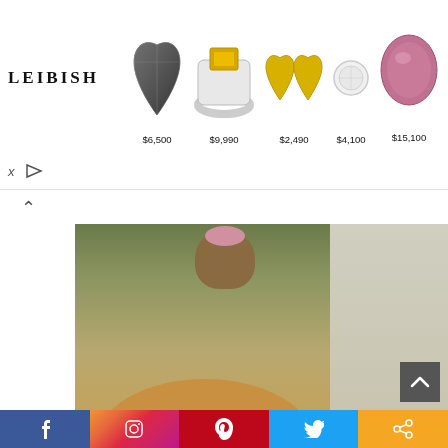[Figure (other): LEIBISH jewelry advertisement banner showing 5 jewelry items with prices: heart-shaped dark diamond $6,500, ring with yellow diamond $9,990, gold heart earrings $2,490, round diamond stud earrings $4,100, pink diamond $15,100]
[Figure (photo): Photo of a young woman with long dark hair wearing glasses and a light blue hoodie, sitting at an outdoor cafe with round wooden tables and dark metal chairs in the background. Text overlay reads 'aborntraveller.com']
Facebook | Instagram | Pinterest | Twitter | Share